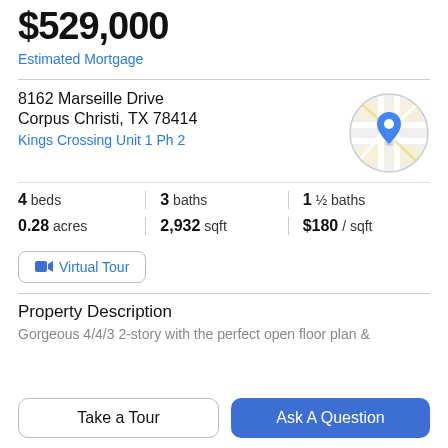$529,000
Estimated Mortgage
8162 Marseille Drive
Corpus Christi, TX 78414
Kings Crossing Unit 1 Ph 2
[Figure (map): Circular map thumbnail with a blue location pin marker]
4 beds | 3 baths | 1 ½ baths
0.28 acres | 2,932 sqft | $180 / sqft
Virtual Tour
Property Description
Gorgeous 4/4/3 2-story with the perfect open floor plan &
Take a Tour
Ask A Question